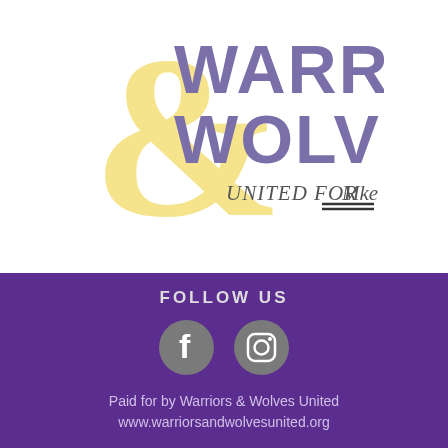[Figure (logo): Warriors & Wolves United logo — large yellow ampersand with purple text 'WARRIORS & WOLVES' and handwritten 'UNITED FOR MKE' below]
Warriors & Wolves United Sets The...
968 views · 4 likes
FOLLOW US
[Figure (logo): Facebook and Instagram circular social media icons in grey on purple background]
Paid for by Warriors & Wolves United
www.warriorsandwolvesunited.org